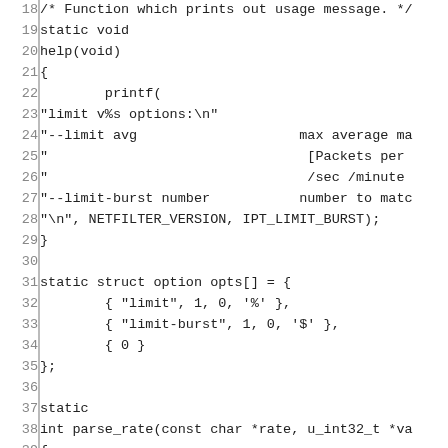Source code listing lines 18-47 showing C functions help() and parse_rate() with line numbers